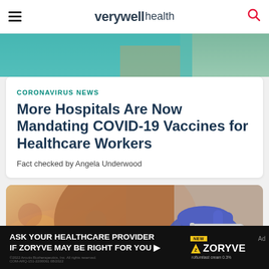verywell health
[Figure (photo): Partial view of a person in teal/green medical scrubs — top portion of image visible]
CORONAVIRUS NEWS
More Hospitals Are Now Mandating COVID-19 Vaccines for Healthcare Workers
Fact checked by Angela Underwood
[Figure (photo): Close-up photo of a gloved hand holding a syringe near the bare shoulder of a person receiving a vaccine injection]
[Figure (other): Advertisement banner: ASK YOUR HEALTHCARE PROVIDER IF ZORYVE MAY BE RIGHT FOR YOU — Zoryve (roflumilast cream 0.3%) — 2022 Arcutis Biotherapeutics Inc. All rights reserved. COM-ARQ-151-2200061 08/2022]